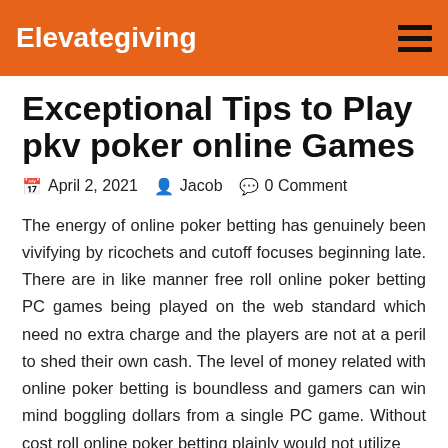Elevategiving
Exceptional Tips to Play pkv poker online Games
April 2, 2021  Jacob  0 Comment
The energy of online poker betting has genuinely been vivifying by ricochets and cutoff focuses beginning late. There are in like manner free roll online poker betting PC games being played on the web standard which need no extra charge and the players are not at a peril to shed their own cash. The level of money related with online poker betting is boundless and gamers can win mind boggling dollars from a single PC game. Without cost roll online poker betting plainly would not utilize